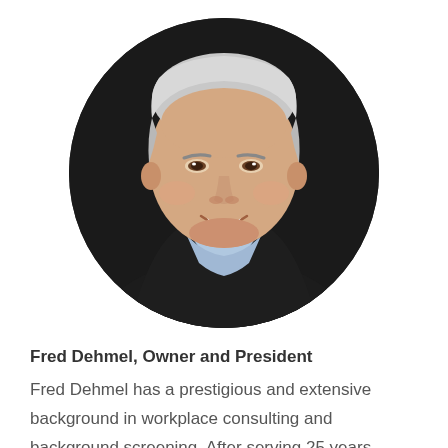[Figure (photo): Circular cropped professional headshot portrait of Fred Dehmel, a middle-aged man with short gray hair, smiling, wearing a black jacket and light blue open-collar shirt, against a dark background.]
Fred Dehmel, Owner and President
Fred Dehmel has a prestigious and extensive background in workplace consulting and background screening. After serving 25 years